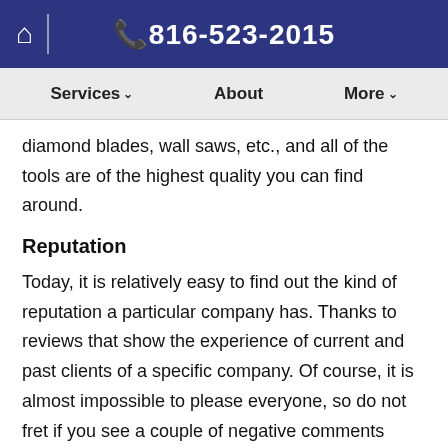🏠 | 📞816-523-2015
Services ∨   About   More ∨
diamond blades, wall saws, etc., and all of the tools are of the highest quality you can find around.
Reputation
Today, it is relatively easy to find out the kind of reputation a particular company has. Thanks to reviews that show the experience of current and past clients of a specific company. Of course, it is almost impossible to please everyone, so do not fret if you see a couple of negative comments about the company you are considering. Don't forget that when it comes to concrete cutting, exceptional workmanship is vital. So, never consider settling for a concrete cutting company that is